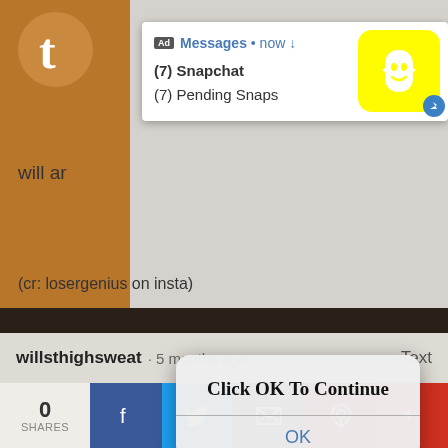[Figure (screenshot): Snapchat push notification ad popup showing '(7) Snapchat' and '(7) Pending Snaps' with Snapchat ghost logo on yellow background and a close X button]
will ar
(cr: losergenius on insta)
#hannibal lecter #fannibalism #will graham #hannibal #mad... #hannibal #murder husband #hannibal memes #hannibal crack #why do i want all these bitches tattooed
[Figure (screenshot): iOS-style dialog box with bold text 'Click OK To Continue' and an OK button in blue]
1K notes · view notes
willsthighsweat · 5 months ago    Text
0 SHARES